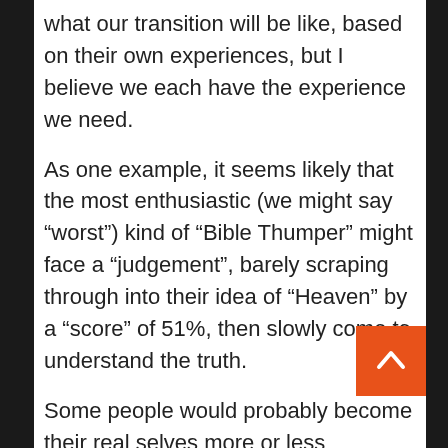what our transition will be like, based on their own experiences, but I believe we each have the experience we need.

As one example, it seems likely that the most enthusiastic (we might say “worst”) kind of “Bible Thumper” might face a “judgement”, barely scraping through into their idea of “Heaven” by a “score” of 51%, then slowly come to understand the truth.

Some people would probably become their real selves more or less immediately, while others, as in the example above, may need a temporary illusion, especially in cases of sudden “death”, where the person may appear